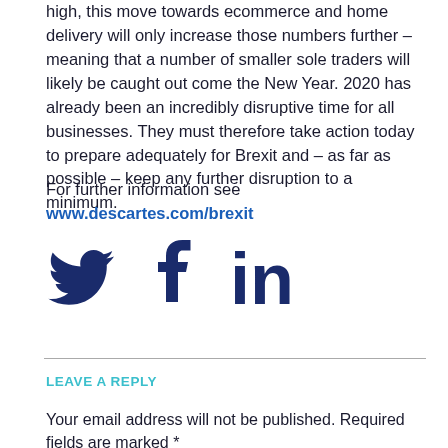high, this move towards ecommerce and home delivery will only increase those numbers further – meaning that a number of smaller sole traders will likely be caught out come the New Year. 2020 has already been an incredibly disruptive time for all businesses. They must therefore take action today to prepare adequately for Brexit and – as far as possible – keep any further disruption to a minimum.
For further information see www.descartes.com/brexit
[Figure (illustration): Social media icons: Twitter bird icon, Facebook f icon, LinkedIn in icon, all in dark navy blue]
LEAVE A REPLY
Your email address will not be published. Required fields are marked *